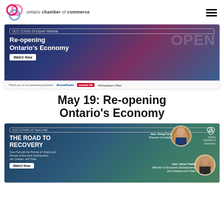[Figure (logo): Ontario Chamber of Commerce logo with OCC circular graphic and text]
[Figure (screenshot): OCC COVID-19 Expert Webinar banner: Re-opening Ontario's Economy with Watch Now button and partner logos (Bruce Power, Canada Life, Chambers Plan)]
May 19: Re-opening Ontario's Economy
[Figure (screenshot): OCC COVID-19 Town Hall banner: The Road to Recovery, featuring Hon. Doug Ford Premier of Ontario and Hon. Victor Fedeli Minister of Economic Development, Job Creation and Trade, with Watch Now button]